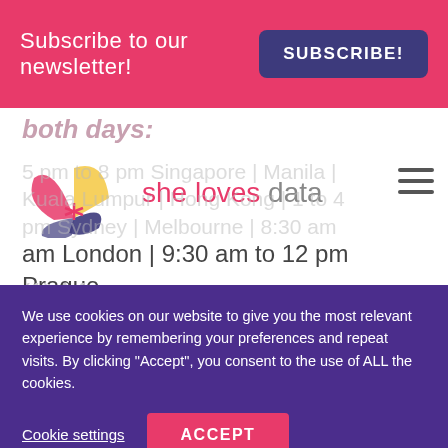Subscribe to our newsletter! SUBSCRIBE!
both days:
[Figure (logo): She Loves Data logo — colorful fan/windmill icon with text 'she loves data' in pink and gray]
am London | 9:30 am to 12 pm Prague
WHY SHOULD YOU JOIN?
(1) A f…
We use cookies on our website to give you the most relevant experience by remembering your preferences and repeat visits. By clicking "Accept", you consent to the use of ALL the cookies.
Cookie settings
ACCEPT